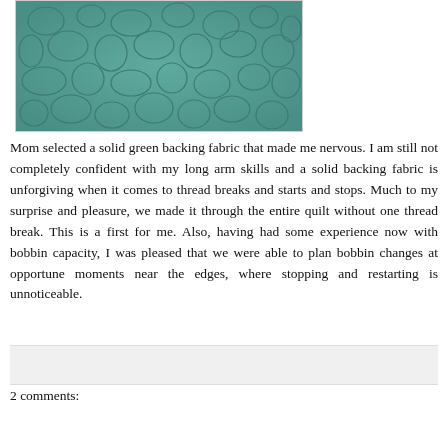[Figure (photo): Close-up photograph of teal/green quilted fabric showing a stippling or pebble quilting pattern with curved stitch lines creating oval and rounded shapes across the solid green backing fabric.]
Mom selected a solid green backing fabric that made me nervous. I am still not completely confident with my long arm skills and a solid backing fabric is unforgiving when it comes to thread breaks and starts and stops. Much to my surprise and pleasure, we made it through the entire quilt without one thread break. This is a first for me. Also, having had some experience now with bobbin capacity, I was pleased that we were able to plan bobbin changes at opportune moments near the edges, where stopping and restarting is unnoticeable.
2 comments: